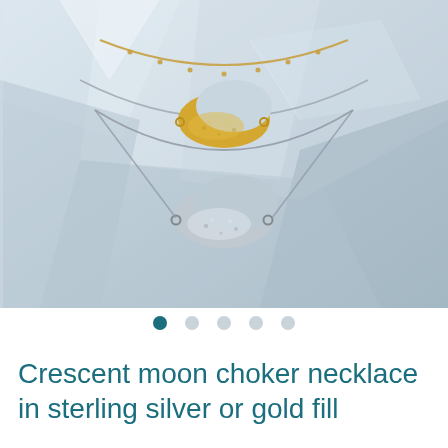[Figure (photo): Two crescent moon shaped pendants on chains laid against a white crystal/quartz background. One pendant is gold on a gold chain, one is silver on a silver chain.]
● ○ ○ ○ ○
Crescent moon choker necklace in sterling silver or gold fill